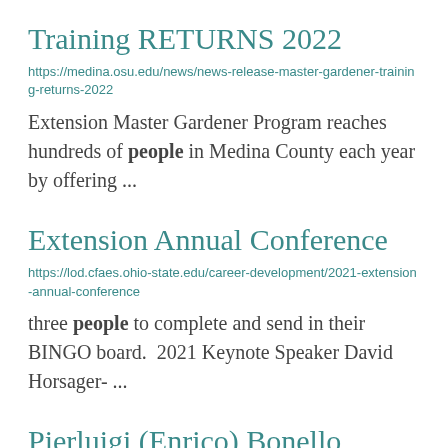Training RETURNS 2022
https://medina.osu.edu/news/news-release-master-gardener-training-returns-2022
Extension Master Gardener Program reaches hundreds of people in Medina County each year by offering ...
Extension Annual Conference
https://lod.cfaes.ohio-state.edu/career-development/2021-extension-annual-conference
three people to complete and send in their BINGO board.  2021 Keynote Speaker David Horsager- ...
Pierluigi (Enrico) Bonello